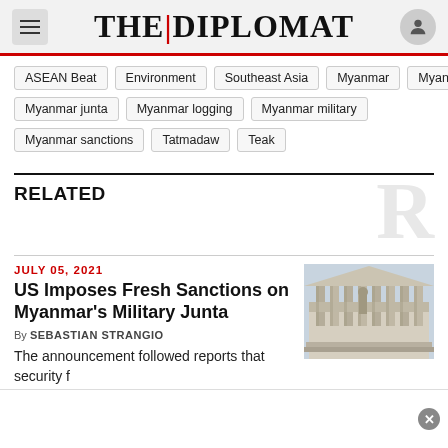THE DIPLOMAT
ASEAN Beat
Environment
Southeast Asia
Myanmar
Myanmar coup
Myanmar junta
Myanmar logging
Myanmar military
Myanmar sanctions
Tatmadaw
Teak
RELATED
JULY 05, 2021
US Imposes Fresh Sanctions on Myanmar’s Military Junta
By SEBASTIAN STRANGIO
[Figure (photo): Photograph of a neoclassical building with columns and a statue]
The announcement followed reports that security forces killed at least 25 people in protest M...